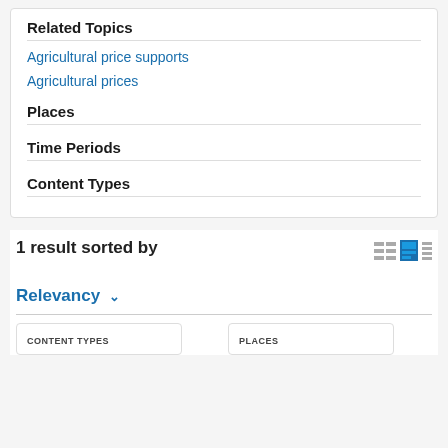Related Topics
Agricultural price supports
Agricultural prices
Places
Time Periods
Content Types
1 result sorted by
Relevancy
CONTENT TYPES
PLACES